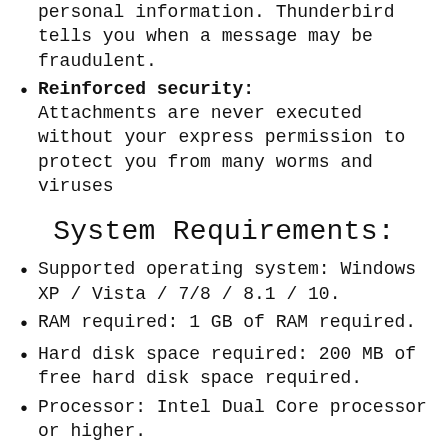personal information. Thunderbird tells you when a message may be fraudulent.
Reinforced security: Attachments are never executed without your express permission to protect you from many worms and viruses
System Requirements:
Supported operating system: Windows XP / Vista / 7/8 / 8.1 / 10.
RAM required: 1 GB of RAM required.
Hard disk space required: 200 MB of free hard disk space required.
Processor: Intel Dual Core processor or higher.